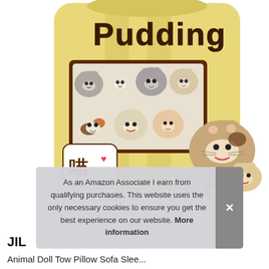[Figure (photo): A plush snack bag pillow shaped like a chip bag labeled 'Pudding' with cute cartoon cat faces (kawaii style). The bag has a transparent window showing many small cat plush toys inside. In front of the bag are several individual small cat plush toys with different coloring — calico, gray, beige. The bag has a speech bubble with Chinese character '喵' (meow) and a pink heart.]
As an Amazon Associate I earn from qualifying purchases. This website uses the only necessary cookies to ensure you get the best experience on our website. More information
JIL
Animal Doll Tow Pillow Sofa Slee...